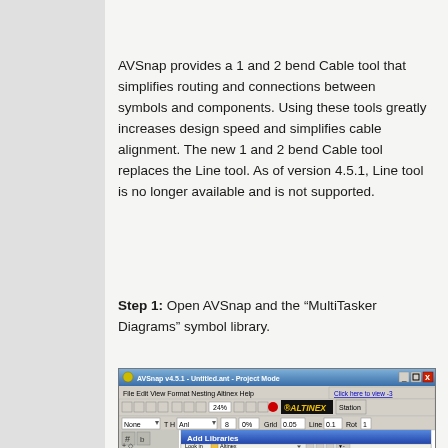AVSnap provides a 1 and 2 bend Cable tool that simplifies routing and connections between symbols and components. Using these tools greatly increases design speed and simplifies cable alignment. The new 1 and 2 bend Cable tool replaces the Line tool. As of version 4.5.1, Line tool is no longer available and is not supported.
Step 1: Open AVSnap and the “MultiTasker Diagrams” symbol library.
[Figure (screenshot): AVSnap v4.5.1 application window showing the Project Mode interface with toolbar, menus (File, Edit, View, Format, Nesting, Altinex, Help), ALTINEX logo in toolbar, and an 'Add Libraries' dialog box open with a 'Look in: Altinex' folder browser.]